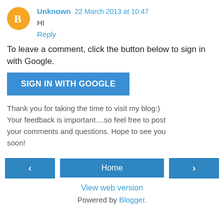Unknown  22 March 2013 at 10:47
HI
Reply
To leave a comment, click the button below to sign in with Google.
SIGN IN WITH GOOGLE
Thank you for taking the time to visit my blog:) Your feedback is important....so feel free to post your comments and questions. Hope to see you soon!
< Home >
View web version
Powered by Blogger.